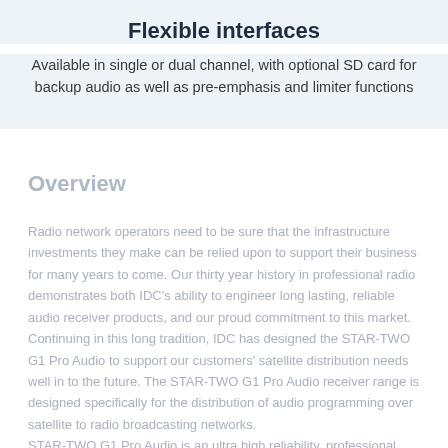Flexible interfaces
Available in single or dual channel, with optional SD card for backup audio as well as pre-emphasis and limiter functions
Overview
Radio network operators need to be sure that the infrastructure investments they make can be relied upon to support their business for many years to come. Our thirty year history in professional radio demonstrates both IDC's ability to engineer long lasting, reliable audio receiver products, and our proud commitment to this market. Continuing in this long tradition, IDC has designed the STAR-TWO G1 Pro Audio to support our customers' satellite distribution needs well in to the future. The STAR-TWO G1 Pro Audio receiver range is designed specifically for the distribution of audio programming over satellite to radio broadcasting networks. STAR-TWO G1 Pro Audio is an ultra high reliability, professional satellite receiver designed specifically for radio distribution.